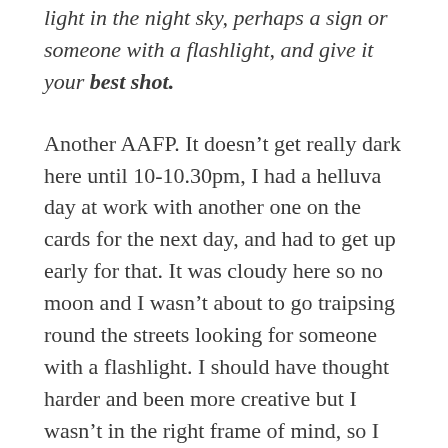light in the night sky, perhaps a sign or someone with a flashlight, and give it your best shot.
Another AAFP. It doesn’t get really dark here until 10-10.30pm, I had a helluva day at work with another one on the cards for the next day, and had to get up early for that. It was cloudy here so no moon and I wasn’t about to go traipsing round the streets looking for someone with a flashlight. I should have thought harder and been more creative but I wasn’t in the right frame of mind, so I set up the tripod and camera in the garden and give it a go